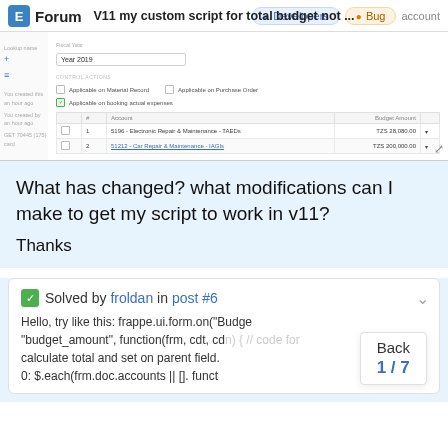V11 my custom script for total budget not ...
Forum  Developers  Bug  account
[Figure (screenshot): Screenshot of a budget form in an ERP application (ERPNext/Frappe) showing Fiscal Year 2019, Control Action checkboxes including 'Applicable on Material Request', 'Applicable on Purchase Order', 'Applicable on booking actual expenses', and a table with accounts: 1. 5196 - Electronic Repair & Maintenance - TAEDs: TZS 28,080.00, 2. 51212 - Car Repair & Maintenance - IAGIs: TZS 200,000.00, with an Add Row button.]
What has changed? what modifications can I make to get my script to work in v11?

Thanks
✓ Solved by froldan in post #6
Hello, try like this: frappe.ui.form.on("Budget", "budget_amount", function(frm, cdt, cdn) { // code for calculate total and set on parent field. 0: $.each(frm.doc.accounts || [], funct